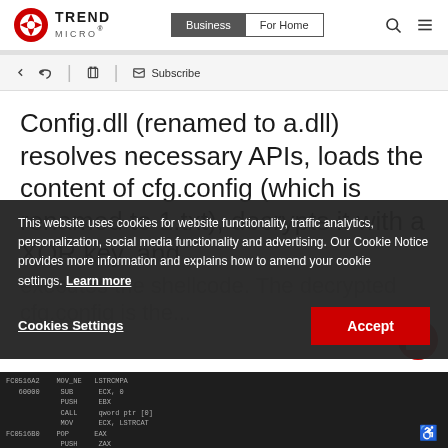[Figure (logo): Trend Micro logo — red circle with arrow icon and TREND MICRO text]
Business | For Home — navigation header with search and menu icons
Back, Share, Print, Subscribe toolbar
Config.dll (renamed to a.dll) resolves necessary APIs, loads the content of cfg.config (which is renamed to 1.txt), decrypts it with a XOR key, and executes the shellcode. The decrypted cfg.config is the...
This website uses cookies for website functionality, traffic analytics, personalization, social media functionality and advertising. Our Cookie Notice provides more information and explains how to amend your cookie settings. Learn more
[Figure (screenshot): Dark-themed code/disassembly screenshot at bottom of page]